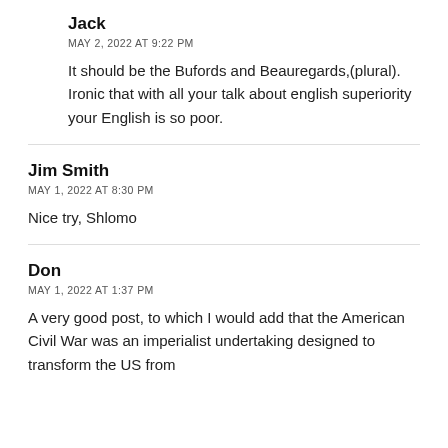Jack
MAY 2, 2022 AT 9:22 PM
It should be the Bufords and Beauregards,(plural). Ironic that with all your talk about english superiority your English is so poor.
Jim Smith
MAY 1, 2022 AT 8:30 PM
Nice try, Shlomo
Don
MAY 1, 2022 AT 1:37 PM
A very good post, to which I would add that the American Civil War was an imperialist undertaking designed to transform the US from...